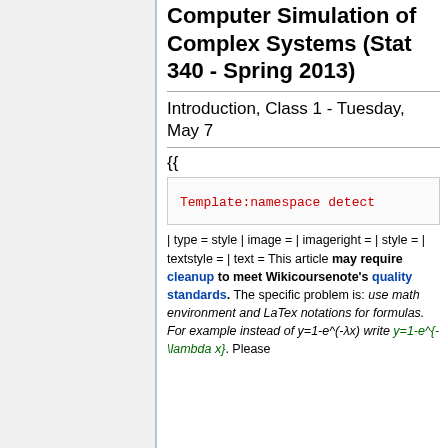Computer Simulation of Complex Systems (Stat 340 - Spring 2013)
Introduction, Class 1 - Tuesday, May 7
{{
Template:namespace detect
| type = style | image = | imageright = | style = | textstyle = | text = This article may require cleanup to meet Wikicoursenote's quality standards. The specific problem is: use math environment and LaTex notations for formulas. For example instead of y=1-e^(-λx) write y=1-e^{-\lambda x}. Please improve this article if you can.